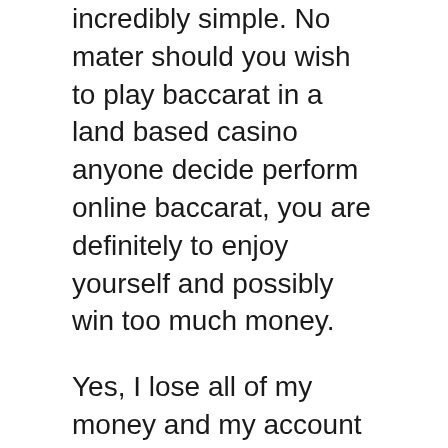incredibly simple. No mater should you wish to play baccarat in a land based casino anyone decide perform online baccarat, you are definitely to enjoy yourself and possibly win too much money.
Yes, I lose all of my money and my account is cleaned out. I regret on my action and i blame myself why Worry me at first follow the techniques that asked me not to bet if the betting condition is not met. Additionally blamed on why I was able to not withdraw the money from my bankroll once i suppose to take. If I did, Let me enjoy the winnings rather than losing unanimously.
Now [link text] got these guidelines on the way to win roulette, it is perfectly up to